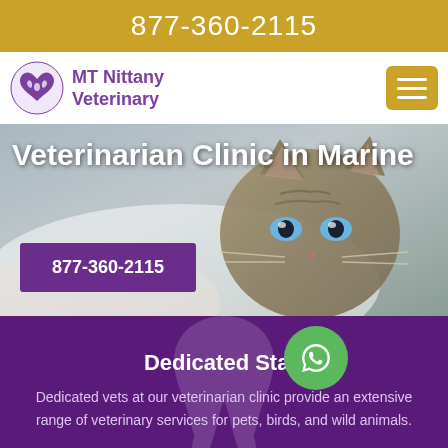877-360-2115
[Figure (logo): MT Nittany Veterinary logo with purple heart and animal silhouettes]
Veterinarian Clinic in Marine
877-360-2115
[Figure (photo): Close-up photo of a grey tabby kitten with blue eyes being held by a person in white clothing]
Dedicated Staff
Dedicated vets at our veterinarian clinic provide an extensive range of veterinary services for pets, birds, and wild animals.